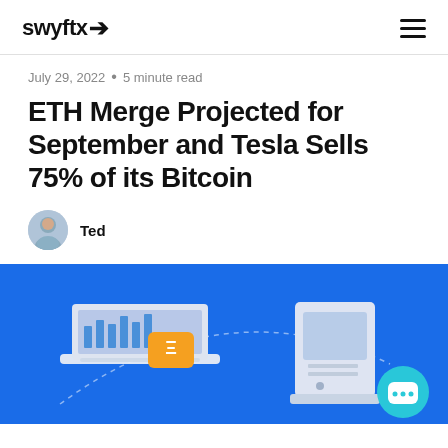swyftx
July 29, 2022 • 5 minute read
ETH Merge Projected for September and Tesla Sells 75% of its Bitcoin
Ted
[Figure (illustration): Blue background illustration showing a laptop with a trading/chart interface and an orange ETH token, alongside a desktop computer tower, with a teal chat/support button in the bottom right corner.]